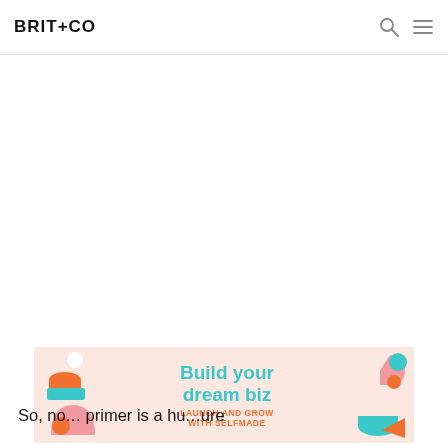BRIT+CO
[Figure (infographic): Brit+Co advertisement banner with pink background, decorative geometric shapes in teal, orange, and pink. Text reads 'Build your dream biz' in teal and 'LAUNCH AND GROW WITH SELFMADE' in orange.]
So, no... primer is a hu... ure